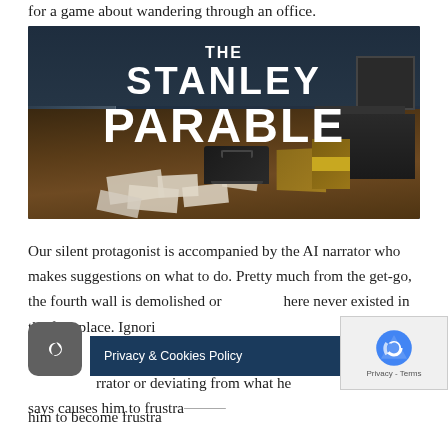for a game about wandering through an office.
[Figure (screenshot): Screenshot/promotional image for The Stanley Parable video game, showing the game title in large white bold text over a dark blue-gray office interior scene with scattered papers and boxes on a wooden floor.]
Our silent protagonist is accompanied by the AI narrator who makes suggestions on what to do. Pretty much from the get-go, the fourth wall is demolished or here never existed in the first place. Ignoring the narrator or deviating from what he says causes him to become frustrated, almost
[Figure (screenshot): Dark mode toggle button (crescent moon icon on dark gray rounded square background), Privacy & Cookies Policy banner in dark blue, and Google reCAPTCHA widget overlay.]